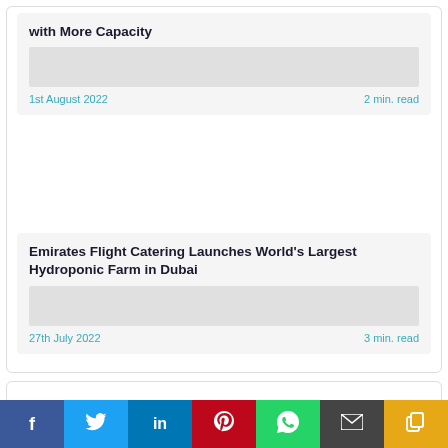with More Capacity
1st August 2022
2 min. read
Emirates Flight Catering Launches World's Largest Hydroponic Farm in Dubai
27th July 2022
3 min. read
Recent News